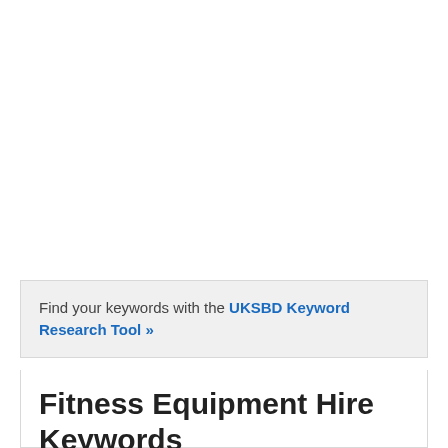Find your keywords with the UKSBD Keyword Research Tool »
Fitness Equipment Hire Keywords